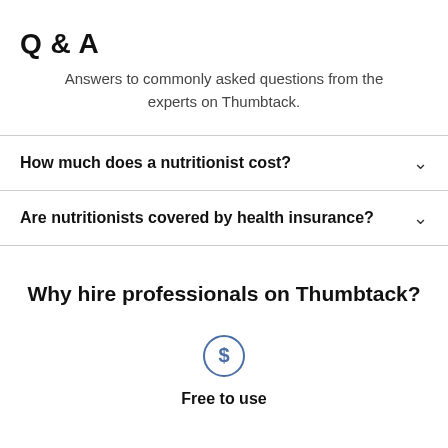Q & A
Answers to commonly asked questions from the experts on Thumbtack.
How much does a nutritionist cost?
Are nutritionists covered by health insurance?
Why hire professionals on Thumbtack?
[Figure (illustration): Dollar sign inside a circle icon]
Free to use